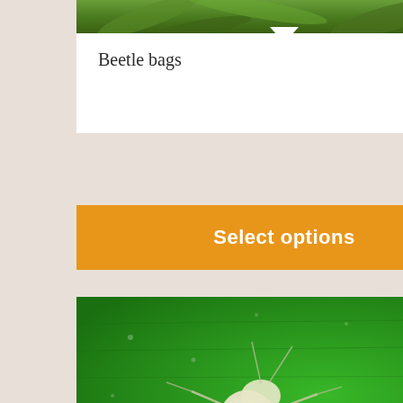[Figure (photo): Top portion of a product card showing a green plant background image, partially cropped at top]
Beetle bags
[Figure (other): Orange 'Select options' button]
[Figure (photo): Close-up photograph of a small white/translucent insect (mite or similar arthropod) on a bright green textured leaf surface]